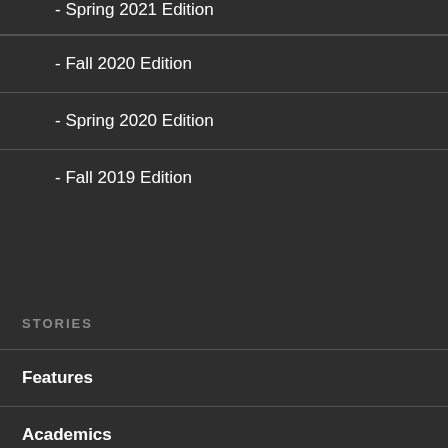- Spring 2021 Edition
- Fall 2020 Edition
- Spring 2020 Edition
- Fall 2019 Edition
STORIES
Features
Academics
Culture